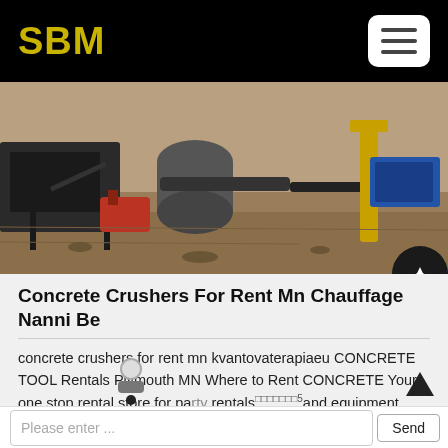SBM
[Figure (photo): Construction or mining site with heavy machinery, metal frames, large industrial equipment, and dirt ground in the background.]
Concrete Crushers For Rent Mn Chauffage Nanni Be
concrete crushers for rent mn kvantovaterapiaeu CONCRETE TOOL Rentals Plymouth MN Where to Rent CONCRETE Your one stop rental store for party rentals and equipment rentals in Plymouth Minnesota Hamel Orono Minnetonka Golden Valley Maple Grove Medina Wayzata MN Concrete Grinder 1 concrete